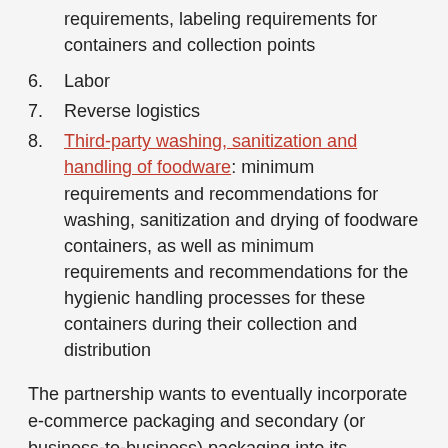5. [Labeling and Collection]: physical and vendor requirements, labeling requirements for containers and collection points
6. Labor
7. Reverse logistics
8. Third-party washing, sanitization and handling of foodware: minimum requirements and recommendations for washing, sanitization and drying of foodware containers, as well as minimum requirements and recommendations for the hygienic handling processes for these containers during their collection and distribution
The partnership wants to eventually incorporate e-commerce packaging and secondary (or business-to-business) packaging into its standards. “But it will take some time to get to those,” Juska said.